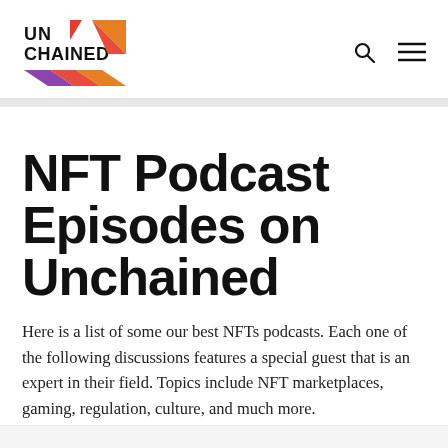Unchained logo with navigation search and menu icons
NFT Podcast Episodes on Unchained
Here is a list of some our best NFTs podcasts. Each one of the following discussions features a special guest that is an expert in their field. Topics include NFT marketplaces, gaming, regulation, culture, and much more.